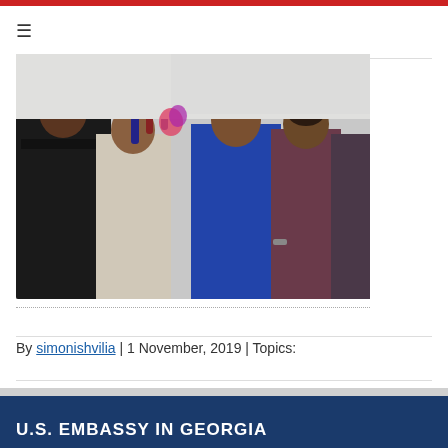[Figure (photo): Group of people being interviewed by journalists holding microphones and recording devices. People in the background include a woman in blue jacket and others in dark clothing.]
By simonishvilia | 1 November, 2019 | Topics:
U.S. EMBASSY IN GEORGIA